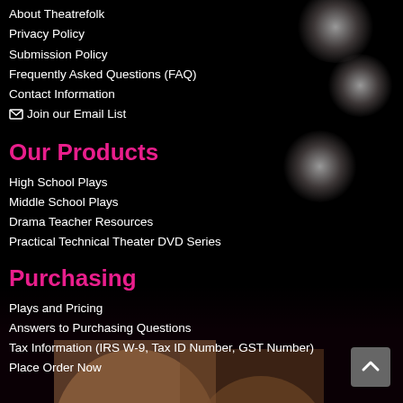About Theatrefolk
Privacy Policy
Submission Policy
Frequently Asked Questions (FAQ)
Contact Information
Join our Email List
Our Products
High School Plays
Middle School Plays
Drama Teacher Resources
Practical Technical Theater DVD Series
Purchasing
Plays and Pricing
Answers to Purchasing Questions
Tax Information (IRS W-9, Tax ID Number, GST Number)
Place Order Now
[Figure (photo): Dark background with human figure/face silhouette at bottom, decorative dot/bokeh circles in upper right corner]